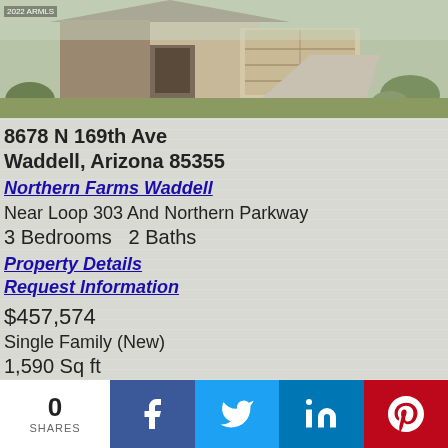[Figure (photo): Exterior photo of a new single family home with desert landscaping, two-car garage, and brick facade. Watermark reads '2022 ARMLS'.]
8678 N 169th Ave
Waddell, Arizona 85355
Northern Farms Waddell
Near Loop 303 And Northern Parkway
3 Bedrooms   2 Baths
Property Details
Request Information
$457,574
Single Family (New)
1,590 Sq ft
0
SHARES